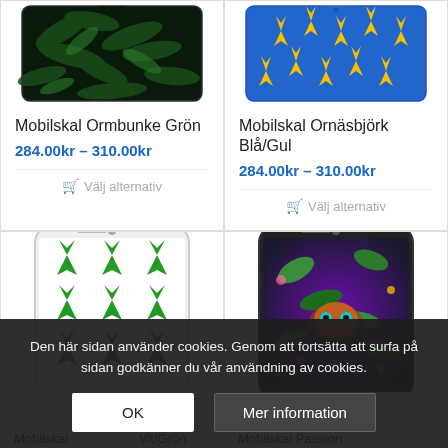[Figure (photo): Phone case with green fern/jungle pattern on black background]
Mobilskal Ormbunke Grön
284.00kr – 310.00kr
Välj alternativ
[Figure (photo): Phone case with yellow flames/crowns pattern on blue background]
Mobilskal Ornäsbjörk Blå/Gul
284.00kr – 310.00kr
Välj alternativ
[Figure (photo): Phone case with green leaf/tree pattern on white background]
Mobilskal Vit/Grön
284.00kr – 310.00kr
[Figure (photo): Phone case with colorful tropical cat/flower illustration]
Mobilskal Passion
284.00kr – 310.00kr
Den här sidan använder cookies. Genom att fortsätta att surfa på sidan godkänner du vår användning av cookies.
OK
Mer information